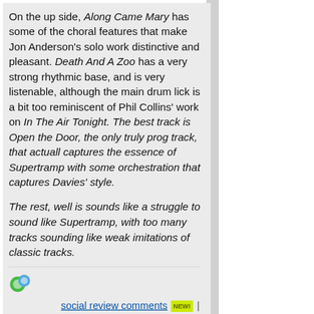On the up side, Along Came Mary has some of the choral features that make Jon Anderson's solo work distinctive and pleasant. Death And A Zoo has a very strong rhythmic base, and is very listenable, although the main drum lick is a bit too reminiscent of Phil Collins' work on In The Air Tonight. The best track is Open the Door, the only truly prog track, that actuall captures the essence of Supertramp with some orchestration that captures Davies' style.
The rest, well is sounds like a struggle to sound like Supertramp, with too many tracks sounding like weak imitations of classic tracks.
social review comments NEW! | Review Permalink
📅 Posted Thursday, November 14, 2013
| Review this album | Report
(Review #1076462)